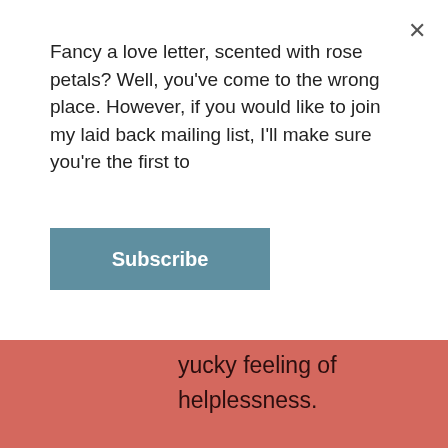Fancy a love letter, scented with rose petals? Well, you've come to the wrong place. However, if you would like to join my laid back mailing list, I'll make sure you're the first to
Subscribe
yucky feeling of helplessness.
So if you want to give it a go, check out #millionmaskchallenge on Twitter, try this tutorial on Instructables  or have a read of this article on Forbes.  At the very least, they will stop you touching your face! And I made mine using material with miniature